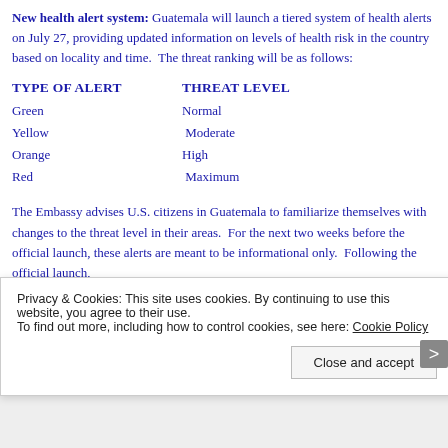New health alert system: Guatemala will launch a tiered system of health alerts on July 27, providing updated information on levels of health risk in the country based on locality and time. The threat ranking will be as follows:
| TYPE OF ALERT | THREAT LEVEL |
| --- | --- |
| Green | Normal |
| Yellow | Moderate |
| Orange | High |
| Red | Maximum |
The Embassy advises U.S. citizens in Guatemala to familiarize themselves with changes to the threat level in their areas. For the next two weeks before the official launch, these alerts are meant to be informational only. Following the official launch,
Privacy & Cookies: This site uses cookies. By continuing to use this website, you agree to their use.
To find out more, including how to control cookies, see here: Cookie Policy